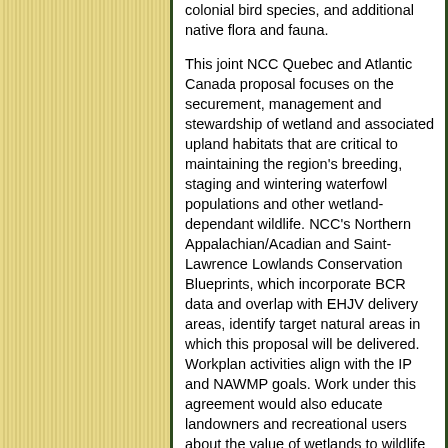[Figure (illustration): Decorative vertical gold/tan stripes pattern on left side of page]
colonial bird species, and additional native flora and fauna.

This joint NCC Quebec and Atlantic Canada proposal focuses on the securement, management and stewardship of wetland and associated upland habitats that are critical to maintaining the region's breeding, staging and wintering waterfowl populations and other wetland-dependant wildlife. NCC's Northern Appalachian/Acadian and Saint-Lawrence Lowlands Conservation Blueprints, which incorporate BCR data and overlap with EHJV delivery areas, identify target natural areas in which this proposal will be delivered. Workplan activities align with the IP and NAWMP goals. Work under this agreement would also educate landowners and recreational users about the value of wetlands to wildlife and healthy functioning of ecosystems. Stewardship activities will provide public outreach and promote sustainable practices on adjacent lands. New in this proposal is anticipated activity in the Fog Forest in Newfoundland and in...